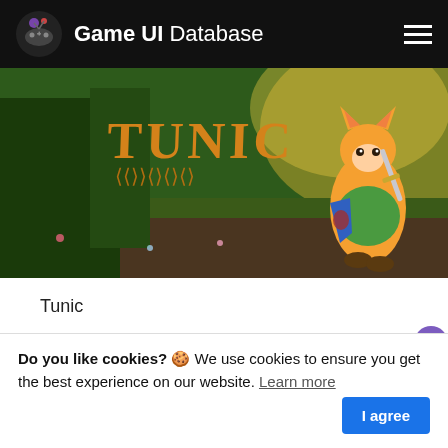Game UI Database
[Figure (screenshot): Tunic game cover art showing a cartoon fox character holding a sword and shield in a fantasy forest setting, with the word TUNIC in orange letters at the top]
Tunic
[Figure (screenshot): Two Point Hospital game cover art showing two cartoon characters and teal-colored hospital floor plan, with 'TWO POINT' logo visible]
Do you like cookies? 🍪 We use cookies to ensure you get the best experience on our website. Learn more | I agree